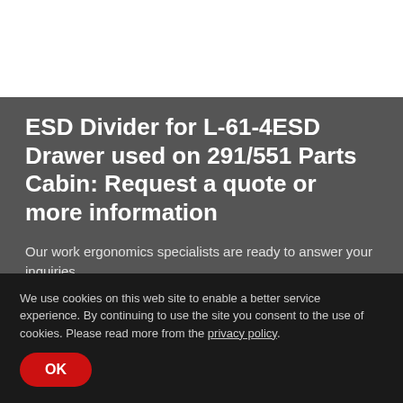ESD Divider for L-61-4ESD Drawer used on 291/551 Parts Cabin: Request a quote or more information
Our work ergonomics specialists are ready to answer your inquiries.
First name *
Last name
We use cookies on this web site to enable a better service experience. By continuing to use the site you consent to the use of cookies. Please read more from the privacy policy.
OK